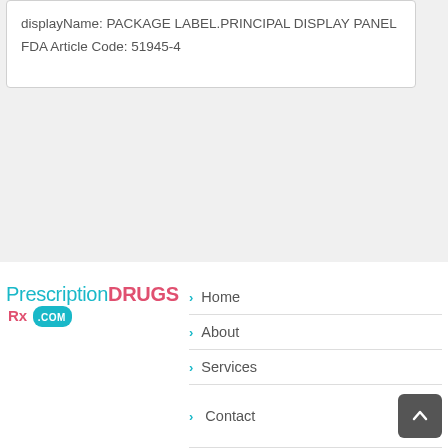displayName: PACKAGE LABEL.PRINCIPAL DISPLAY PANEL
FDA Article Code: 51945-4
[Figure (logo): PrescriptionDRUGS Rx .com logo with teal and pink coloring]
Home
About
Services
Contact